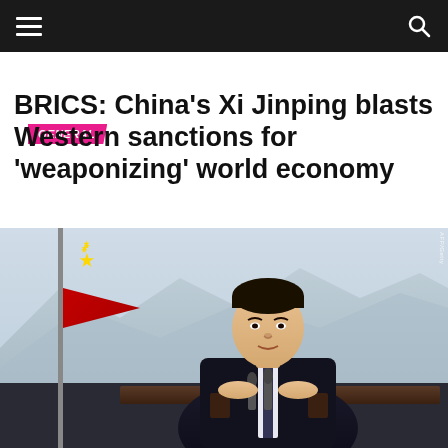GENERAL
BRICS: China’s Xi Jinping blasts Western sanctions for ‘weaponizing’ world economy
[Figure (photo): Xi Jinping seated at a desk with microphones, wearing a dark suit, with a Chinese flag visible to his left and a mountain/landscape backdrop behind him.]